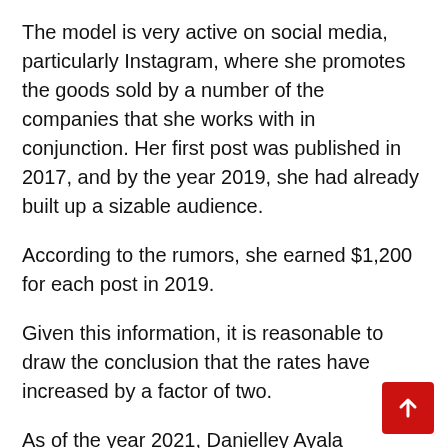The model is very active on social media, particularly Instagram, where she promotes the goods sold by a number of the companies that she works with in conjunction. Her first post was published in 2017, and by the year 2019, she had already built up a sizable audience.
According to the rumors, she earned $1,200 for each post in 2019.
Given this information, it is reasonable to draw the conclusion that the rates have increased by a factor of two.
As of the year 2021, Danielley Ayala possesses a net worth that is approximately $200,000 dollars. Danielley Ayala was noted to be a star with the